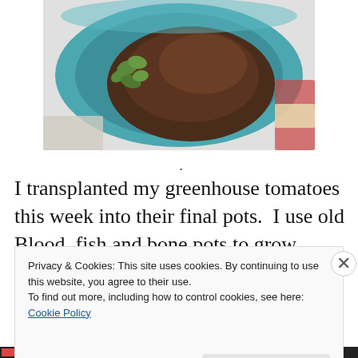[Figure (photo): A teal/turquoise ceramic pot filled with dark brown soil, with small green seedlings (tomato plants) visible near the left side of the pot, viewed from above. The background shows some colorful materials.]
.
I transplanted my greenhouse tomatoes this week into their final pots.  I use old Blood, fish and bone pots to grow
Privacy & Cookies: This site uses cookies. By continuing to use this website, you agree to their use.
To find out more, including how to control cookies, see here: Cookie Policy